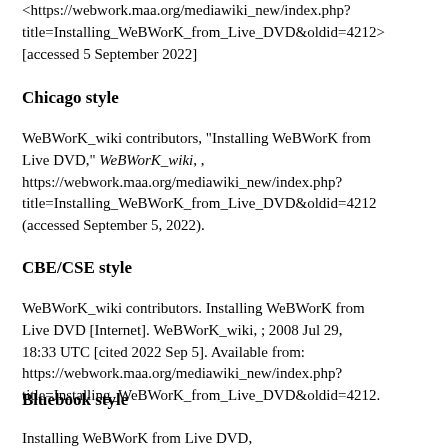<https://webwork.maa.org/mediawiki_new/index.php?title=Installing_WeBWorK_from_Live_DVD&oldid=4212> [accessed 5 September 2022]
Chicago style
WeBWorK_wiki contributors, "Installing WeBWorK from Live DVD," WeBWorK_wiki, , https://webwork.maa.org/mediawiki_new/index.php?title=Installing_WeBWorK_from_Live_DVD&oldid=4212 (accessed September 5, 2022).
CBE/CSE style
WeBWorK_wiki contributors. Installing WeBWorK from Live DVD [Internet]. WeBWorK_wiki, ; 2008 Jul 29, 18:33 UTC [cited 2022 Sep 5]. Available from: https://webwork.maa.org/mediawiki_new/index.php?title=Installing_WeBWorK_from_Live_DVD&oldid=4212.
Bluebook style
Installing WeBWorK from Live DVD,